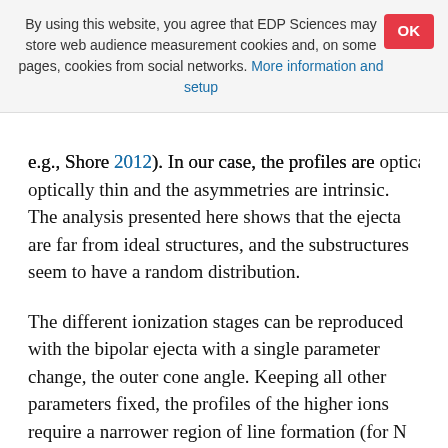By using this website, you agree that EDP Sciences may store web audience measurement cookies and, on some pages, cookies from social networks. More information and setup
e.g., Shore 2012). In our case, the profiles are optically thin and the asymmetries are intrinsic. The analysis presented here shows that the ejecta are far from ideal structures, and the substructures seem to have a random distribution.
The different ionization stages can be reproduced with the bipolar ejecta with a single parameter change, the outer cone angle. Keeping all other parameters fixed, the profiles of the higher ions require a narrower region of line formation (for N II] as for the other lower ionization stages the outer angle was 10–20° while for the higher ions it was closer to 30–40°.